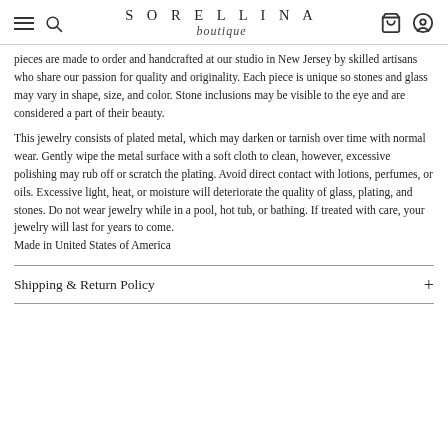SORELLINA boutique
pieces are made to order and handcrafted at our studio in New Jersey by skilled artisans who share our passion for quality and originality. Each piece is unique so stones and glass may vary in shape, size, and color. Stone inclusions may be visible to the eye and are considered a part of their beauty.
This jewelry consists of plated metal, which may darken or tarnish over time with normal wear. Gently wipe the metal surface with a soft cloth to clean, however, excessive polishing may rub off or scratch the plating. Avoid direct contact with lotions, perfumes, or oils. Excessive light, heat, or moisture will deteriorate the quality of glass, plating, and stones. Do not wear jewelry while in a pool, hot tub, or bathing. If treated with care, your jewelry will last for years to come.
Made in United States of America
Shipping & Return Policy